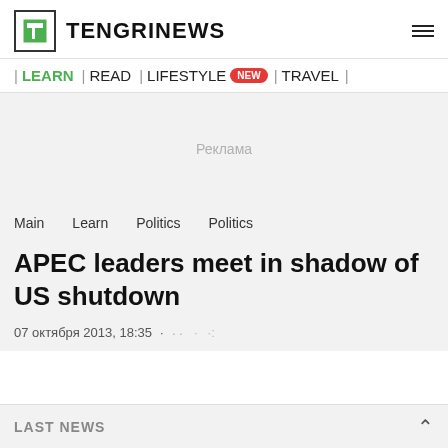TENGRINEWS
| LEARN | READ | LIFESTYLE NEW | TRAVEL |
[Figure (other): Advertisement placeholder area with text 'Реклама']
Main   Learn   Politics   Politics
APEC leaders meet in shadow of US shutdown
07 октября 2013, 18:35
LAST NEWS